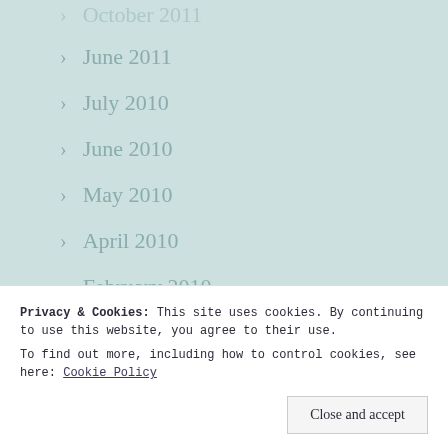October 2011
June 2011
July 2010
June 2010
May 2010
April 2010
February 2010
January 2010
August 2009
April 2009
Privacy & Cookies: This site uses cookies. By continuing to use this website, you agree to their use.
To find out more, including how to control cookies, see here: Cookie Policy
Close and accept